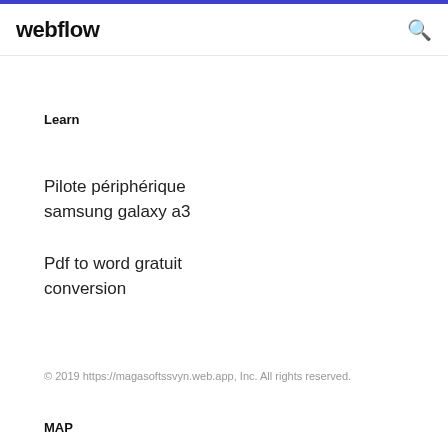webflow
Learn
Pilote périphérique samsung galaxy a3
Pdf to word gratuit conversion
© 2019 https://magasoftssvyn.web.app, Inc. All rights reserved.
MAP